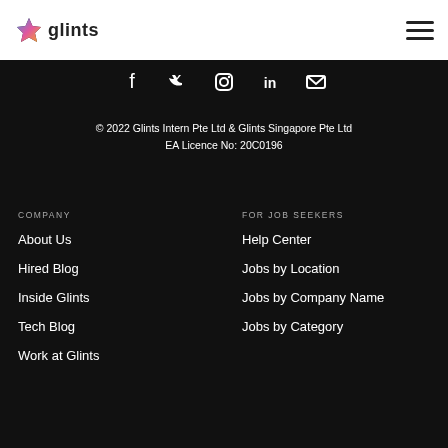[Figure (logo): Glints logo with star icon and text 'glints']
[Figure (other): Hamburger menu icon (three horizontal lines)]
[Figure (other): Social media icons row: Facebook, Twitter, Instagram, LinkedIn, Email]
© 2022 Glints Intern Pte Ltd & Glints Singapore Pte Ltd
EA Licence No: 20C0196
COMPANY
FOR JOB SEEKERS
About Us
Help Center
Hired Blog
Jobs by Location
Inside Glints
Jobs by Company Name
Tech Blog
Jobs by Category
Work at Glints